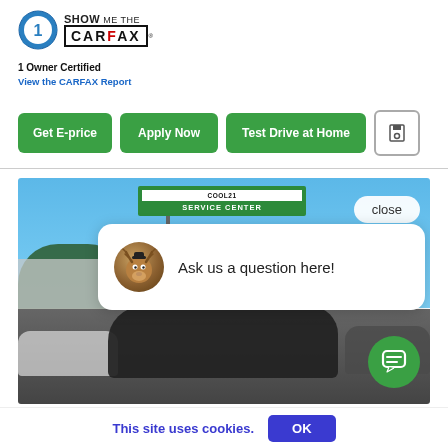[Figure (logo): CARFAX 1 Owner Certified logo with gear badge icon and text 'SHOW ME THE CARFAX']
1 Owner Certified
View the CARFAX Report
[Figure (screenshot): Row of three green buttons labeled 'Get E-price', 'Apply Now', 'Test Drive at Home' and a save/floppy disk icon button]
[Figure (photo): Outdoor photo of a car dealership service center with a green sign reading 'SERVICE CENTER', blue sky, trees, building, and multiple vehicles in foreground. A white chat popup bubble says 'Ask us a question here!' with a mascot avatar. A 'close' pill button is in the upper right. A green chat icon button is in the lower right.]
close
Ask us a question here!
This site uses cookies.
OK